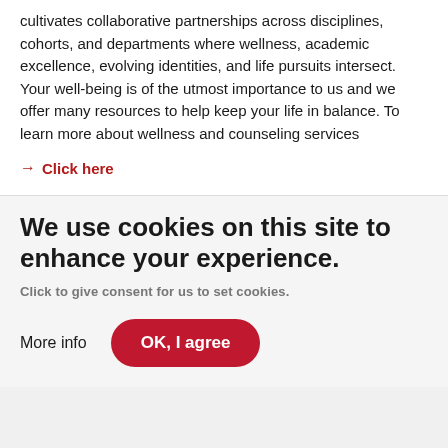cultivates collaborative partnerships across disciplines, cohorts, and departments where wellness, academic excellence, evolving identities, and life pursuits intersect. Your well-being is of the utmost importance to us and we offer many resources to help keep your life in balance. To learn more about wellness and counseling services
→ Click here
We use cookies on this site to enhance your experience.
Click to give consent for us to set cookies.
More info
OK, I agree